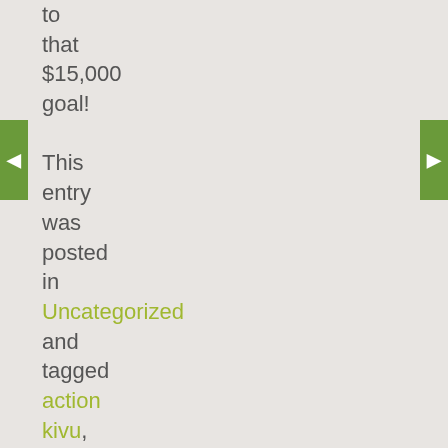to that $15,000 goal! This entry was posted in Uncategorized and tagged action kivu, fundraiser. Bookmark the permalink.